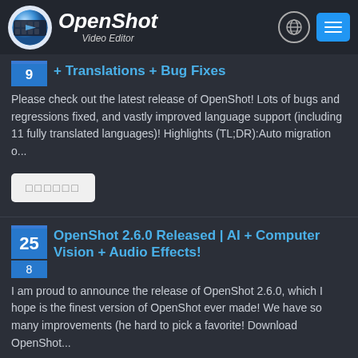OpenShot Video Editor
+ Translations + Bug Fixes
Please check out the latest release of OpenShot! Lots of bugs and regressions fixed, and vastly improved language support (including 11 fully translated languages)! Highlights (TL;DR):Auto migration o...
Read more (button with placeholder characters)
OpenShot 2.6.0 Released | AI + Computer Vision + Audio Effects!
I am proud to announce the release of OpenShot 2.6.0, which I hope is the finest version of OpenShot ever made! We have so many improvements (he hard to pick a favorite! Download OpenShot...